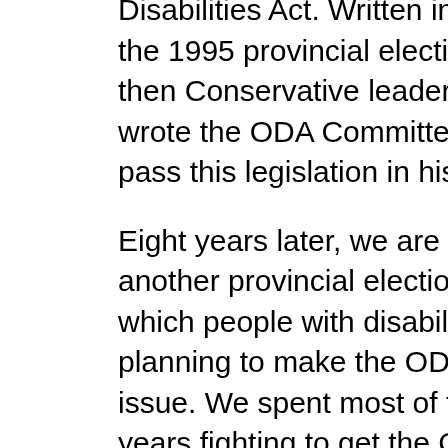Disabilities Act. Written in the midst of the 1995 provincial election campaign, then Conservative leader Mike Harris wrote the ODA Committee that he would pass this legislation in his first term.
Eight years later, we are on the verge of another provincial election campaign in which people with disabilities are planning to make the ODA an election issue. We spent most of the past 8 years fighting to get the Conservative Government to finally pass the Ontarians with Disabilities Act.
Although they passed a law bearing this name in late 2001 (during their second term), the law they passed was not strong and effective. Rather than a law with teeth, it had